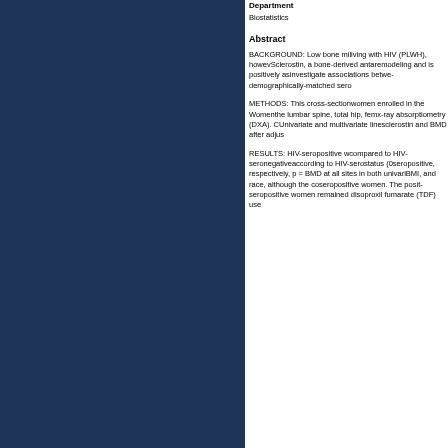[Figure (other): Dark navy blue decorative panel on the left side of the page]
Department
Biostatistics
Abstract
BACKGROUND: Low bone mi- living with HIV (PLWH), howev- Sclerostin, a bone-derived anta- remodeling and is positively as- investigate associations betwe- demographically-matched sero-
METHODS: This cross-section- women enrolled in the Women- the lumbar spine, total hip, fem- x-ray absorptiometry (DXA). C- Univariate and multivariate line- sclerostin and BMD after adjus-
RESULTS: HIV-seropositive w- compared to HIV-seronegative- according to HIV-serostatus (0- seropositive, respectively, p = - BMD at all sites in both univari- BMI, and race, although the co- seropositive women. The posit- seropositive women remained - disoproxil fumarate (TDF) use-